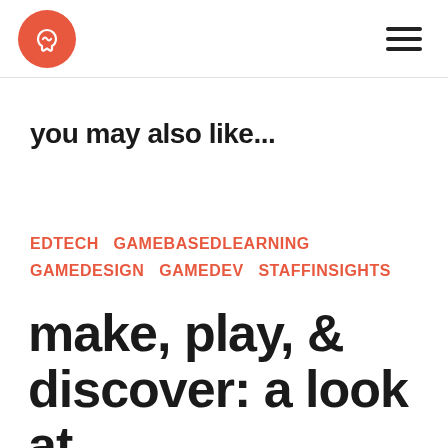Logo and navigation header
you may also like...
EDTECH   GAMEBASEDLEARNING   GAMEDESIGN   GAMEDEV   STAFFINSIGHTS
make, play, & discover: a look at